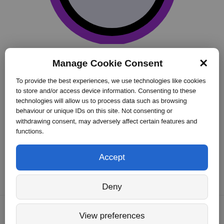[Figure (logo): Circular logo with purple, black, and green colors, partially visible at top of page]
Manage Cookie Consent
To provide the best experiences, we use technologies like cookies to store and/or access device information. Consenting to these technologies will allow us to process data such as browsing behaviour or unique IDs on this site. Not consenting or withdrawing consent, may adversely affect certain features and functions.
Accept
Deny
View preferences
Cookie Policy   Privacy & Cookie Policy, Terms of Use
13th July 2021   Fundraising News
Paypal Giving Fund PayPal Giving Fund is an